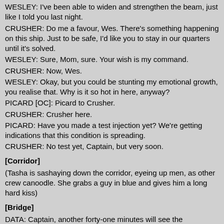WESLEY: I've been able to widen and strengthen the beam, just like I told you last night.
CRUSHER: Do me a favour, Wes. There's something happening on this ship. Just to be safe, I'd like you to stay in our quarters until it's solved.
WESLEY: Sure, Mom, sure. Your wish is my command.
CRUSHER: Now, Wes.
WESLEY: Okay, but you could be stunting my emotional growth, you realise that. Why is it so hot in here, anyway?
PICARD [OC]: Picard to Crusher.
CRUSHER: Crusher here.
PICARD: Have you made a test injection yet? We're getting indications that this condition is spreading.
CRUSHER: No test yet, Captain, but very soon.
[Corridor]
(Tasha is sashaying down the corridor, eyeing up men, as other crew canoodle. She grabs a guy in blue and gives him a long hard kiss)
[Bridge]
DATA: Captain, another forty-one minutes will see the information from the Tsiolkovsky downloaded to us.
PICARD: Why so slow?